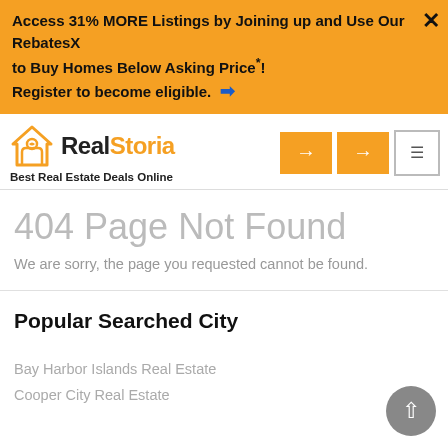Access 31% MORE Listings by Joining up and Use Our Rebates to Buy Homes Below Asking Price*! Register to become eligible. ➡
[Figure (logo): RealStoria logo with house icon and text 'Best Real Estate Deals Online']
404 Page Not Found
We are sorry, the page you requested cannot be found.
Popular Searched City
Bay Harbor Islands Real Estate
Cooper City Real Estate